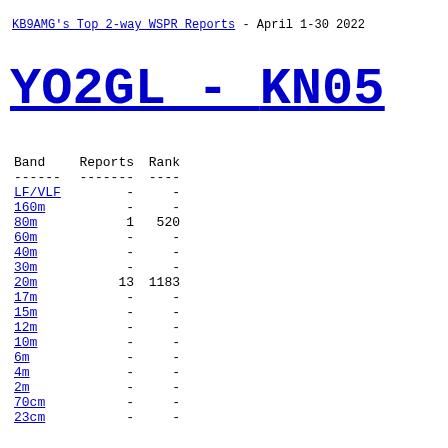KB9AMG's Top 2-way WSPR Reports - April 1-30 2022
YO2GL - KN05
| Band | Reports | Rank |
| --- | --- | --- |
| ------ | ------- | ---- |
| LF/VLF | - | - |
| 160m | - | - |
| 80m | 1 | 520 |
| 60m | - | - |
| 40m | - | - |
| 30m | - | - |
| 20m | 13 | 1183 |
| 17m | - | - |
| 15m | - | - |
| 12m | - | - |
| 10m | - | - |
| 6m | - | - |
| 4m | - | - |
| 2m | - | - |
| 70cm | - | - |
| 23cm | - | - |